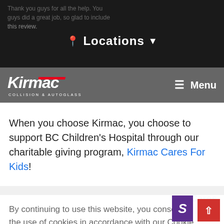Thank you guys for all the help. You guys did a great job, so glad to include this review.
📍 Locations ▾
[Figure (logo): Kirmac Collision & Autoglass logo with red swoosh, white italic text on gray nav bar. Menu hamburger icon on right.]
When you choose Kirmac, you choose to support BC Children's Hospital through our charitable giving program, Kirmac Cares For Kids!
ac Cares
ipital
By continuing to use this website, you consent to the use of cookies in accordance with our Cookie Policy.
ACCEPT